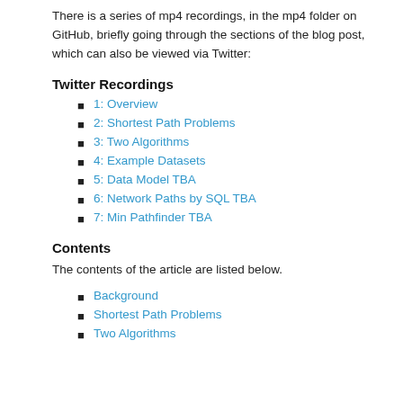There is a series of mp4 recordings, in the mp4 folder on GitHub, briefly going through the sections of the blog post, which can also be viewed via Twitter:
Twitter Recordings
1: Overview
2: Shortest Path Problems
3: Two Algorithms
4: Example Datasets
5: Data Model TBA
6: Network Paths by SQL TBA
7: Min Pathfinder TBA
Contents
The contents of the article are listed below.
Background
Shortest Path Problems
Two Algorithms